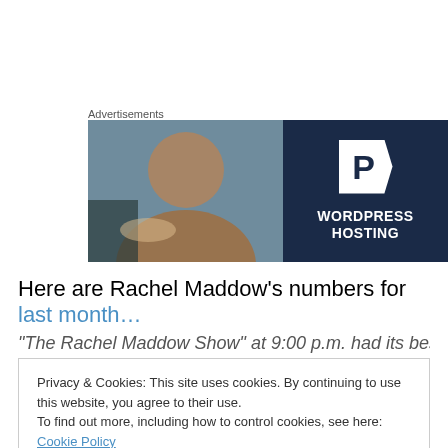Advertisements
[Figure (photo): Advertisement banner for WordPress Hosting. Left half shows a smiling person holding a sign in a shop window; right half is dark navy blue with a white P logo and bold white text reading WORDPRESS HOSTING.]
Here are Rachel Maddow’s numbers for last month…
“The Rachel Maddow Show” at 9:00 p.m. had its best A25-
Privacy & Cookies: This site uses cookies. By continuing to use this website, you agree to their use.
To find out more, including how to control cookies, see here: Cookie Policy
575,000). Compared to Oct. 2011, “Maddow” is up 151%